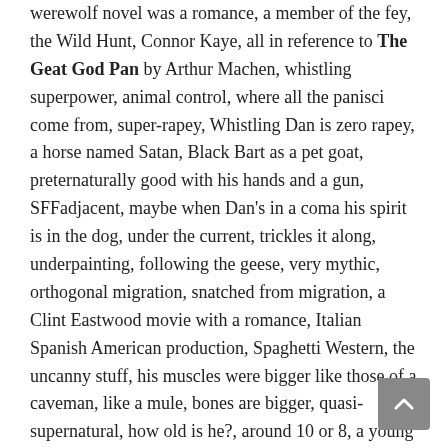werewolf novel was a romance, a member of the fey, the Wild Hunt, Connor Kaye, all in reference to The Geat God Pan by Arthur Machen, whistling superpower, animal control, where all the panisci come from, super-rapey, Whistling Dan is zero rapey, a horse named Satan, Black Bart as a pet goat, preternaturally good with his hands and a gun, SFFadjacent, maybe when Dan's in a coma his spirit is in the dog, under the current, trickles it along, underpainting, following the geese, very mythic, orthogonal migration, snatched from migration, a Clint Eastwood movie with a romance, Italian Spanish American production, Spaghetti Western, the uncanny stuff, his muscles were bigger like those of a caveman, like a mule, bones are bigger, quasi-supernatural, how old is he?, around 10 or 8, a young boy, tame him, lock him in with his daughter, risky, this thing that can't be tamed, the daughter has a calming effect on all the characters in the novel, Max Brand has a whole bunch of ideas about how women